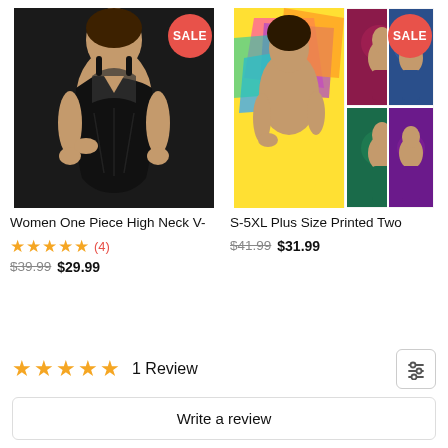[Figure (photo): Women one piece black swimsuit with high neck V design, with a red SALE badge]
Women One Piece High Neck V-
★★★★★ (4)
$39.99 $29.99
[Figure (photo): S-5XL Plus Size printed two piece swimsuit in yellow/multicolor with red SALE badge, and 4 color variant thumbnails]
S-5XL Plus Size Printed Two
$41.99 $31.99
★★★★★ 1 Review
Write a review